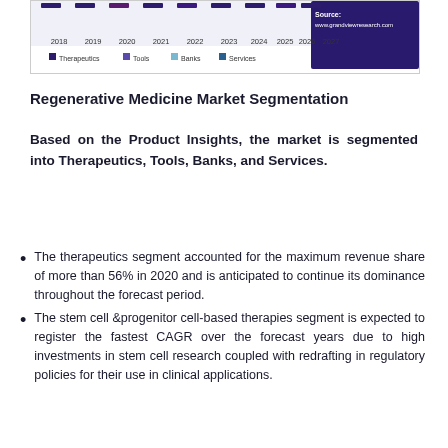[Figure (line-chart): Partial view of a line chart showing Regenerative Medicine Market segmentation trends from 2018 to 2027, with lines for Therapeutics, Tools, Banks, and Services. Only the bottom portion (x-axis labels and legend) is visible.]
Regenerative Medicine Market Segmentation
Based on the Product Insights, the market is segmented into Therapeutics, Tools, Banks, and Services.
The therapeutics segment accounted for the maximum revenue share of more than 56% in 2020 and is anticipated to continue its dominance throughout the forecast period.
The stem cell &progenitor cell-based therapies segment is expected to register the fastest CAGR over the forecast years due to high investments in stem cell research coupled with redrafting in regulatory policies for their use in clinical applications.